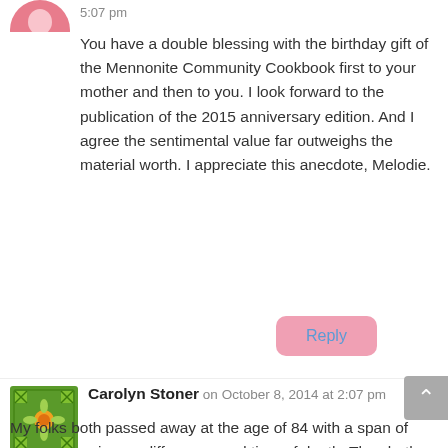5:07 pm
You have a double blessing with the birthday gift of the Mennonite Community Cookbook first to your mother and then to you. I look forward to the publication of the 2015 anniversary edition. And I agree the sentimental value far outweighs the material worth. I appreciate this anecdote, Melodie.
Reply
Carolyn Stoner on October 8, 2014 at 2:07 pm
My folks both passed away at the age of 84 with a span of seven years in age difference, and time of death. They both still considered the prices of the 50\'s still relevant and could